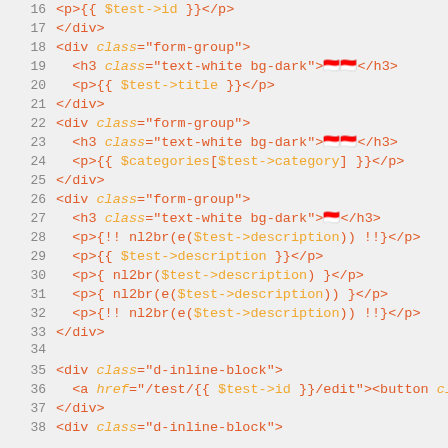[Figure (screenshot): Code editor screenshot showing HTML template lines 16-38 with syntax highlighting. Lines show Blade/Laravel PHP template code including div elements with form-group classes, h3 tags, p tags with Blade variable expressions like $test->id, $test->title, $categories[$test->category], $test->description, nl2br functions, and div elements with d-inline-block class and anchor/button tags.]